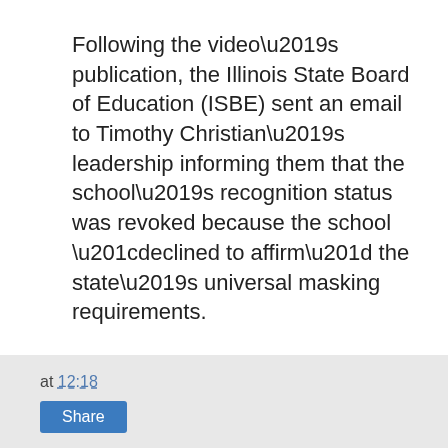Following the video’s publication, the Illinois State Board of Education (ISBE) sent an email to Timothy Christian’s leadership informing them that the school’s recognition status was revoked because the school “declined to affirm” the state’s universal masking requirements.
Timothy Christian denies that it defied the state’s mandate by delaying the reinstitution of a mask mandate.
at 12:18  Share